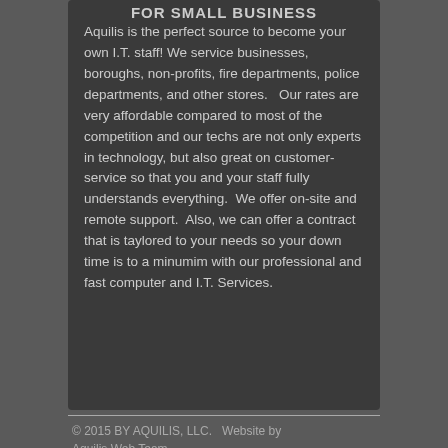FOR SMALL BUSINESS
Aquilis is the perfect source to become your own I.T. staff!  We service businesses, boroughs, non-profits, fire departments, police departments, and other stores.   Our rates are very affordable compared to most of the competition and our techs are not only experts in technology, but also great on customer-service so that you and your staff fully understands everything.  We offer on-site and remote support.  Also, we can offer a contract that is taylored to your needs so your down time is to a minumim with our professional and fast computer and I.T. Services.
© 2015 BY AQUILIS, LLC.   Website by Aquilis Web Team